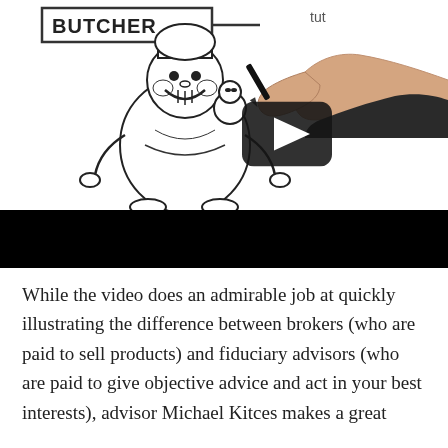[Figure (screenshot): A video thumbnail showing a whiteboard animation being drawn by hand. A person's arm extends from the bottom-right, holding a marker. On the whiteboard is a cartoon drawing of a rotund butcher character in a chef's hat, with a sign reading 'BUTCHER' and partial text 'tut' visible at top. A YouTube-style play button (dark rounded rectangle with white triangle) is overlaid in the center-right area. The bottom portion of the video frame is filled with a solid black bar.]
While the video does an admirable job at quickly illustrating the difference between brokers (who are paid to sell products) and fiduciary advisors (who are paid to give objective advice and act in your best interests), advisor Michael Kitces makes a great